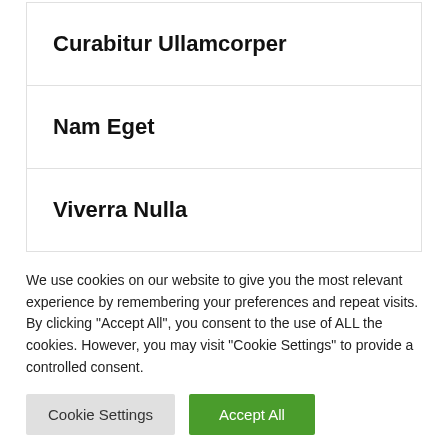Curabitur Ullamcorper
Nam Eget
Viverra Nulla
We use cookies on our website to give you the most relevant experience by remembering your preferences and repeat visits. By clicking "Accept All", you consent to the use of ALL the cookies. However, you may visit "Cookie Settings" to provide a controlled consent.
Cookie Settings | Accept All